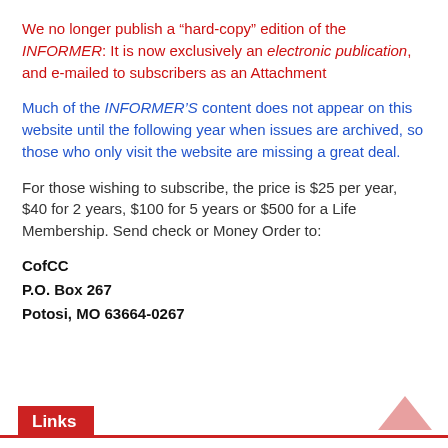We no longer publish a “hard-copy” edition of the INFORMER: It is now exclusively an electronic publication, and e-mailed to subscribers as an Attachment
Much of the INFORMER’S content does not appear on this website until the following year when issues are archived, so those who only visit the website are missing a great deal.
For those wishing to subscribe, the price is $25 per year, $40 for 2 years, $100 for 5 years or $500 for a Life Membership. Send check or Money Order to:
CofCC
P.O. Box 267
Potosi, MO 63664-0267
Links